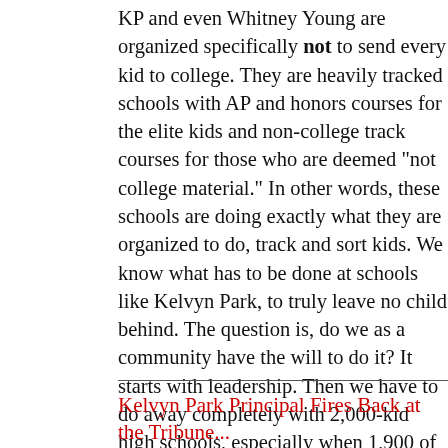KP and even Whitney Young are organized specifically not to send every kid to college. They are heavily tracked schools with AP and honors courses for the elite kids and non-college track courses for those who are deemed "not college material." In other words, these schools are doing exactly what they are organized to do, track and sort kids. We know what has to be done at schools like Kelvyn Park, to truly leave no child behind. The question is, do we as a community have the will to do it? It starts with leadership. Then we have to do away completely with 2,000-kid high schools, especially when 1,900 of those kids are from low-income, and minority families. Smaller learning environments with the same resources they have in suburban schools, a challenging, focused curriculum, and highly-qualified teachers and guess what? You've got a real renaissance.
Kelvyn Park Principal Fires Back at the Tribune...